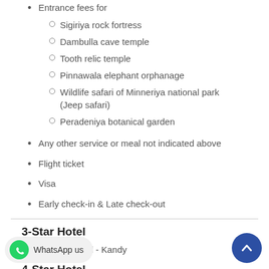Entrance fees for
Sigiriya rock fortress
Dambulla cave temple
Tooth relic temple
Pinnawala elephant orphanage
Wildlife safari of Minneriya national park (Jeep safari)
Peradeniya botanical garden
Any other service or meal not indicated above
Flight ticket
Visa
Early check-in & Late check-out
3-Star Hotel
Senani hotel - Kandy
4-Star Hotel
...egency hotel - Kandy